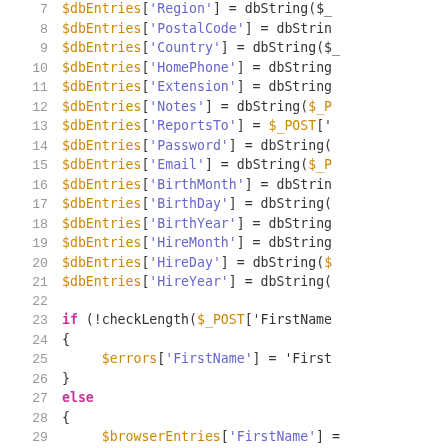[Figure (screenshot): PHP source code snippet showing lines 7-34, with syntax highlighting. Orange for variables and string keys, purple/magenta for keywords (if, else), dark for functions and punctuation, gray for line numbers.]